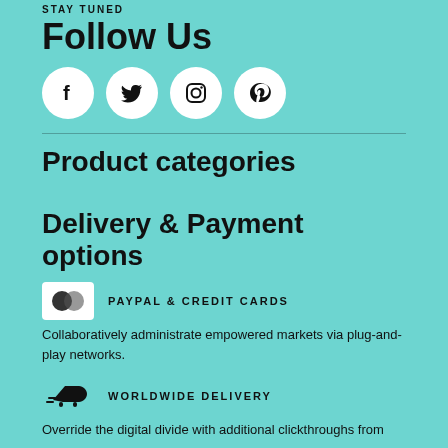STAY TUNED
Follow Us
[Figure (illustration): Four social media icons in white circles: Facebook, Twitter, Instagram, Pinterest]
Product categories
Delivery & Payment options
[Figure (logo): Mastercard-style overlapping circles logo icon]
PAYPAL & CREDIT CARDS
Collaboratively administrate empowered markets via plug-and-play networks.
[Figure (illustration): Airplane icon for worldwide delivery]
WORLDWIDE DELIVERY
Override the digital divide with additional clickthroughs from